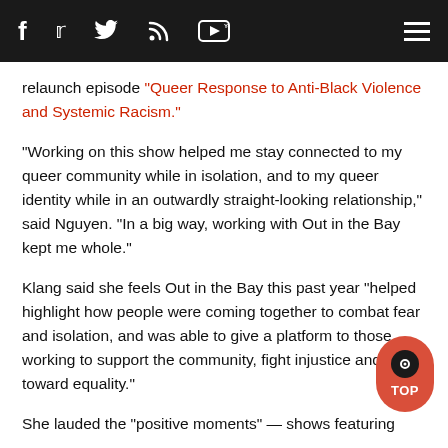f  [twitter]  [rss]  [YouTube]  [menu]
relaunch episode "Queer Response to Anti-Black Violence and Systemic Racism."
"Working on this show helped me stay connected to my queer community while in isolation, and to my queer identity while in an outwardly straight-looking relationship," said Nguyen. "In a big way, working with Out in the Bay kept me whole."
Klang said she feels Out in the Bay this past year "helped highlight how people were coming together to combat fear and isolation, and was able to give a platform to those working to support the community, fight injustice and work toward equality."
She lauded the "positive moments" — shows featuring